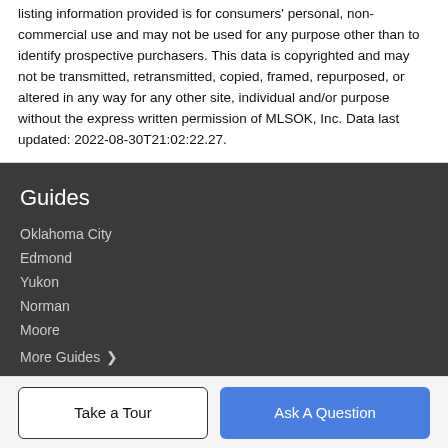listing information provided is for consumers' personal, non-commercial use and may not be used for any purpose other than to identify prospective purchasers. This data is copyrighted and may not be transmitted, retransmitted, copied, framed, repurposed, or altered in any way for any other site, individual and/or purpose without the express written permission of MLSOK, Inc. Data last updated: 2022-08-30T21:02:22.27.
Guides
Oklahoma City
Edmond
Yukon
Norman
Moore
More Guides >
Take a Tour
Ask A Question